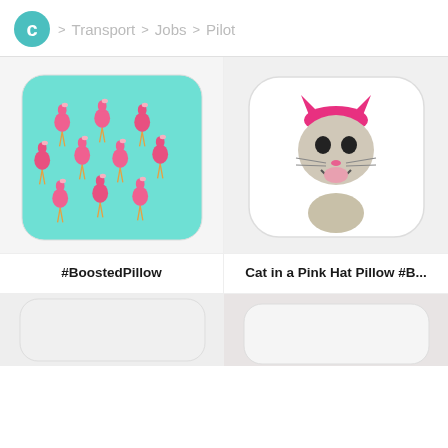C > Transport > Jobs > Pilot
[Figure (photo): Flamingo-patterned throw pillow with pink flamingos on a teal/mint background]
#BoostedPillow
[Figure (photo): White throw pillow featuring a black-and-white cat wearing a pink knit hat, mouth open]
Cat in a Pink Hat Pillow #B...
[Figure (photo): Partially visible pillow product at bottom-left]
[Figure (photo): Partially visible pillow product at bottom-right]